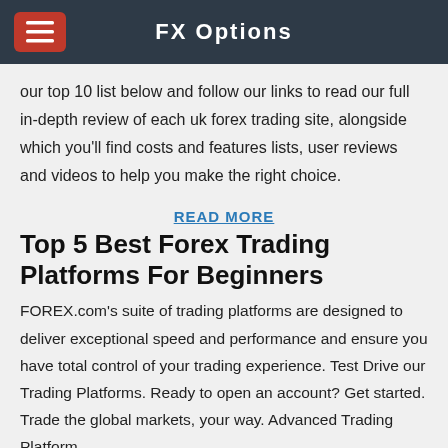FX Options
our top 10 list below and follow our links to read our full in-depth review of each uk forex trading site, alongside which you'll find costs and features lists, user reviews and videos to help you make the right choice.
READ MORE
Top 5 Best Forex Trading Platforms For Beginners
FOREX.com's suite of trading platforms are designed to deliver exceptional speed and performance and ensure you have total control of your trading experience. Test Drive our Trading Platforms. Ready to open an account? Get started. Trade the global markets, your way. Advanced Trading Platform.
[Figure (logo): Row of forex broker logos including FXAAPR, FXCM, FOREX.com, FXCM, and others]
READ MORE